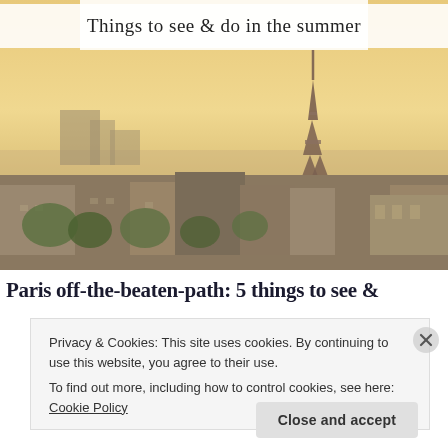Things to see & do in the summer
[Figure (photo): Aerial panoramic view of Paris cityscape at sunset with Eiffel Tower prominently visible on the right side, warm golden/orange sky tones, dense urban landscape with Haussmann-style buildings and green trees in the foreground]
Paris off-the-beaten-path: 5 things to see &…
Privacy & Cookies: This site uses cookies. By continuing to use this website, you agree to their use.
To find out more, including how to control cookies, see here: Cookie Policy
Close and accept